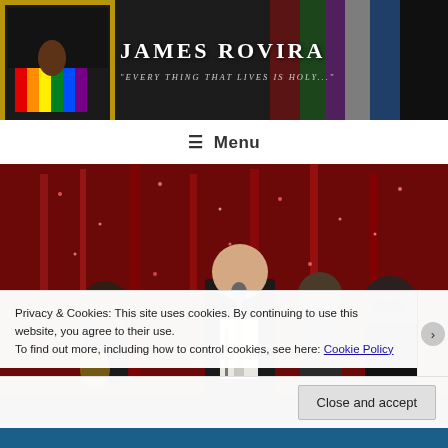[Figure (screenshot): Website header banner for James Rovira blog with dark background, logo image of colorful fists on left, site title 'JAMES ROVIRA' and tagline '"Every thing that lives is holy..."']
JAMES ROVIRA
"Every thing that lives is holy..."
≡ Menu
[Figure (photo): Concert/event photo showing musicians on stage in front of red sparkly curtain backdrop. Multiple performers including guitarist and suited man at microphone.]
Privacy & Cookies: This site uses cookies. By continuing to use this website, you agree to their use.
To find out more, including how to control cookies, see here: Cookie Policy
Close and accept